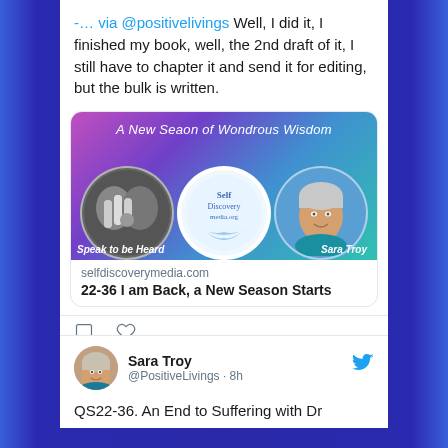-… via @positivelivings Well, I did it, I finished my book, well, the 2nd draft of it, I still have to chapter it and send it for editing, but the bulk is written.
[Figure (photo): Promotional image for 'A New Season of Wondrous Wisdom' - Self Discovery Media podcast banner with three circular photos: hands near ears (B&W), Self Discovery Media logo, and Sara Troy headshot. Text overlays: 'Speak to be Heard' and 'Sara Troy'.]
selfdiscoverymedia.com
22-36 I am Back, a New Season Starts
Sara Troy
@PositiveLivings · 8h
QS22-36. An End to Suffering with Dr